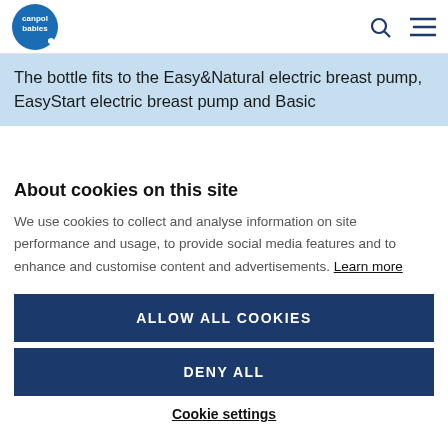canpol babies [logo] [search icon] [menu icon]
The bottle fits to the Easy&Natural electric breast pump, EasyStart electric breast pump and Basic
About cookies on this site
We use cookies to collect and analyse information on site performance and usage, to provide social media features and to enhance and customise content and advertisements. Learn more
ALLOW ALL COOKIES
DENY ALL
Cookie settings